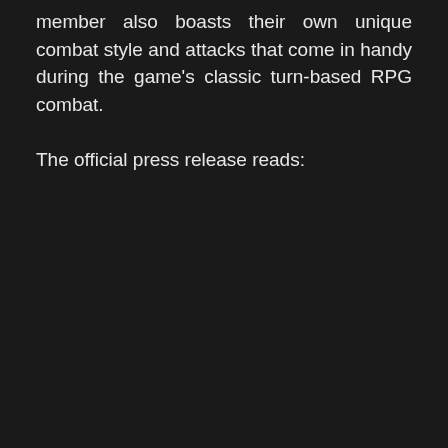member also boasts their own unique combat style and attacks that come in handy during the game's classic turn-based RPG combat.
The official press release reads: